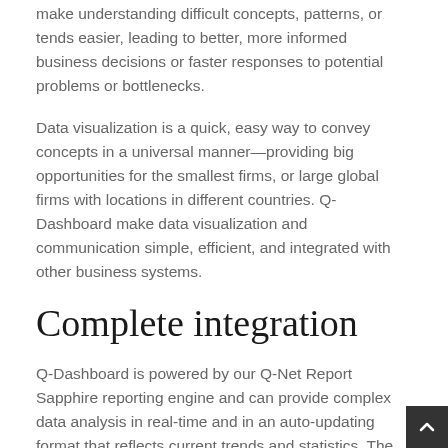make understanding difficult concepts, patterns, or tends easier, leading to better, more informed business decisions or faster responses to potential problems or bottlenecks.
Data visualization is a quick, easy way to convey concepts in a universal manner—providing big opportunities for the smallest firms, or large global firms with locations in different countries. Q-Dashboard make data visualization and communication simple, efficient, and integrated with other business systems.
Complete integration
Q-Dashboard is powered by our Q-Net Report Sapphire reporting engine and can provide complex data analysis in real-time and in an auto-updating format that reflects current trends and statistics. The system is optimized for Q-Marquee and can be used with other display programs.
Simple implementation